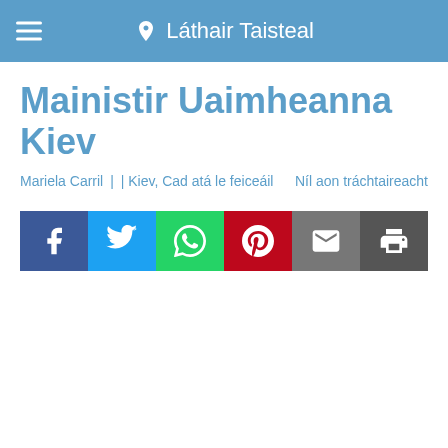Láthair Taisteal
Mainistir Uaimheanna Kiev
Mariela Carril || Kiev, Cad atá le feiceáil  Níl aon tráchtaireacht
[Figure (infographic): Social sharing buttons: Facebook, Twitter, WhatsApp, Pinterest, Email, Print]